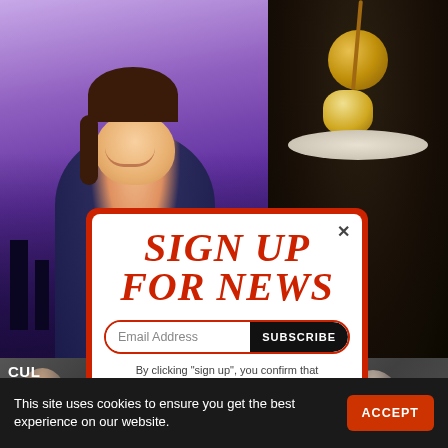[Figure (screenshot): Website screenshot showing a news/entertainment site with photos of a smiling woman presenter on left and food dish on right, with partial text 'CUL' and 'DEM' visible bottom left]
Sign Up For News
Email Address
SUBSCRIBE
By clicking "sign up", you confirm that you accept our Terms & Conditions.
This site uses cookies to ensure you get the best experience on our website.
ACCEPT